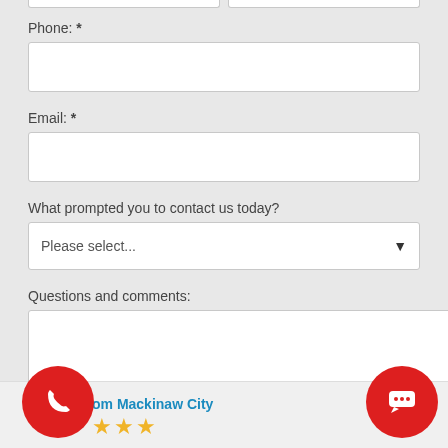Phone: *
[Figure (screenshot): Phone input field (empty white text box)]
Email: *
[Figure (screenshot): Email input field (empty white text box)]
What prompted you to contact us today?
[Figure (screenshot): Dropdown select box with placeholder text 'Please select...' and dropdown arrow]
Questions and comments:
[Figure (screenshot): Multi-line textarea for questions and comments (empty, resizable)]
[Figure (screenshot): Blue submit button labeled 'Get your Free Estimate']
om Mackinaw City
[Figure (screenshot): Red phone icon circle button on the bottom left]
[Figure (screenshot): Red chat bubble icon circle button on the bottom right]
[Figure (screenshot): Three gold/yellow star rating icons at the bottom]